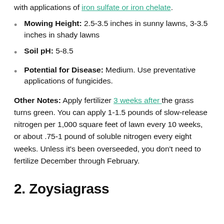with applications of iron sulfate or iron chelate.
Mowing Height: 2.5-3.5 inches in sunny lawns, 3-3.5 inches in shady lawns
Soil pH: 5-8.5
Potential for Disease: Medium. Use preventative applications of fungicides.
Other Notes: Apply fertilizer 3 weeks after the grass turns green. You can apply 1-1.5 pounds of slow-release nitrogen per 1,000 square feet of lawn every 10 weeks, or about .75-1 pound of soluble nitrogen every eight weeks. Unless it's been overseeded, you don't need to fertilize December through February.
2. Zoysiagrass